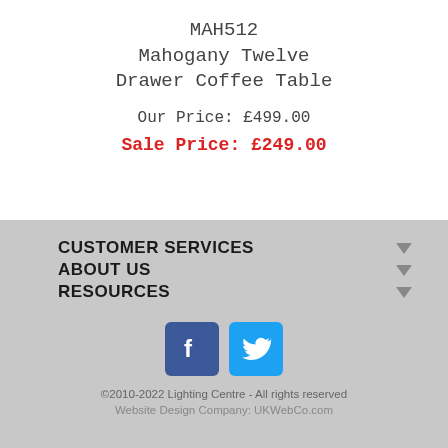MAH512
Mahogany Twelve Drawer Coffee Table
Our Price: £499.00
Sale Price: £249.00
CUSTOMER SERVICES
ABOUT US
RESOURCES
[Figure (logo): Facebook and Twitter social media icons]
©2010-2022 Lighting Centre - All rights reserved
Website Design Company: UKWebCo.com